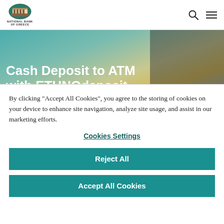NATIONAL BANK OF GREECE
[Figure (screenshot): Hero banner image with teal/gold background tones showing a blurred person, overlaid with bold white title text 'Cash Deposit to ATM with ETHNOdeposit Cards']
Cash Deposit to ATM with ETHNOdeposit Cards
By clicking "Accept All Cookies", you agree to the storing of cookies on your device to enhance site navigation, analyze site usage, and assist in our marketing efforts.
Cookies Settings
Reject All
Accept All Cookies